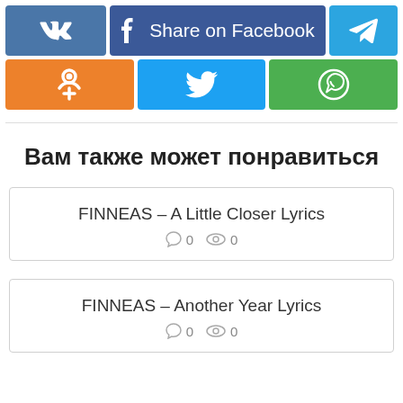[Figure (infographic): Social media share buttons row 1: VK, Share on Facebook, Telegram]
[Figure (infographic): Social media share buttons row 2: Odnoklassniki, Twitter, WhatsApp]
Вам также может понравиться
FINNEAS – A Little Closer Lyrics
○ 0  👁 0
FINNEAS – Another Year Lyrics
○ 0  👁 0